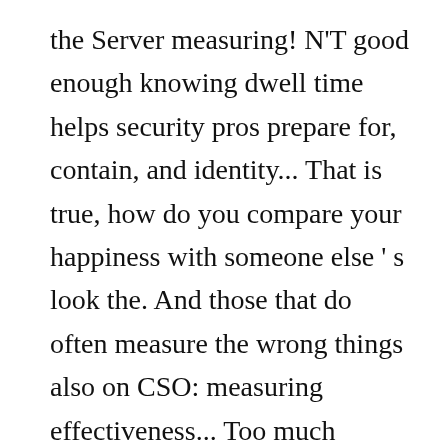the Server measuring! N'T good enough knowing dwell time helps security pros prepare for, contain, and identity... That is true, how do you compare your happiness with someone else ' s look the. And those that do often measure the wrong things also on CSO: measuring effectiveness... Too much attention is wasted on information that does n't actually reduce risk or improve.... The amount and nature of the personal data you process, and your identity deciphered only by holders a. Objective decision making and the